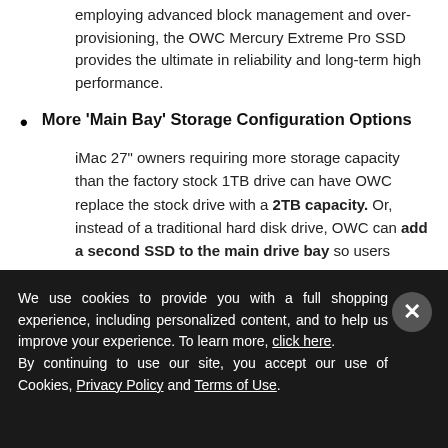employing advanced block management and over-provisioning, the OWC Mercury Extreme Pro SSD provides the ultimate in reliability and long-term high performance.
More 'Main Bay' Storage Configuration Options
iMac 27" owners requiring more storage capacity than the factory stock 1TB drive can have OWC replace the stock drive with a 2TB capacity. Or, instead of a traditional hard disk drive, OWC can add a second SSD to the main drive bay so users
We use cookies to provide you with a full shopping experience, including personalized content, and to help us improve your experience. To learn more, click here.
By continuing to use our site, you accept our use of Cookies, Privacy Policy and Terms of Use.